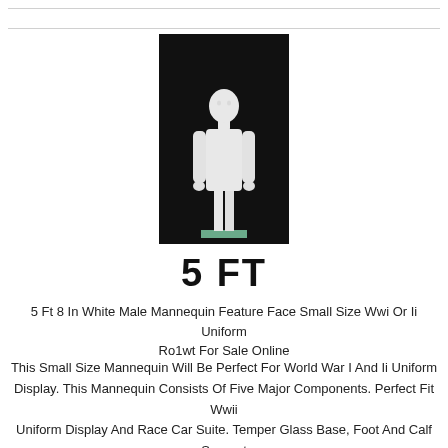[Figure (photo): A white male mannequin standing upright on a small green/teal base against a black background]
5 FT
5 Ft 8 In White Male Mannequin Feature Face Small Size Wwi Or Ii Uniform Ro1wt For Sale Online
This Small Size Mannequin Will Be Perfect For World War I And Ii Uniform Display. This Mannequin Consists Of Five Major Components. Perfect Fit Wwii Uniform Display And Race Car Suite. Temper Glass Base, Foot And Calf Support Rod Included.